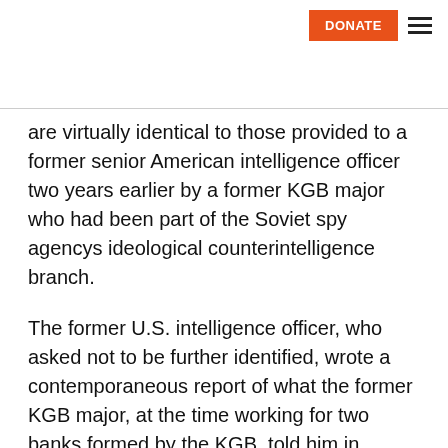DONATE [hamburger menu]
are virtually identical to those provided to a former senior American intelligence officer two years earlier by a former KGB major who had been part of the Soviet spy agencys ideological counterintelligence branch.
The former U.S. intelligence officer, who asked not to be further identified, wrote a contemporaneous report of what the former KGB major, at the time working for two banks formed by the KGB, told him in 1995.The intelligence specialist provided a copy of his report to The Public i.